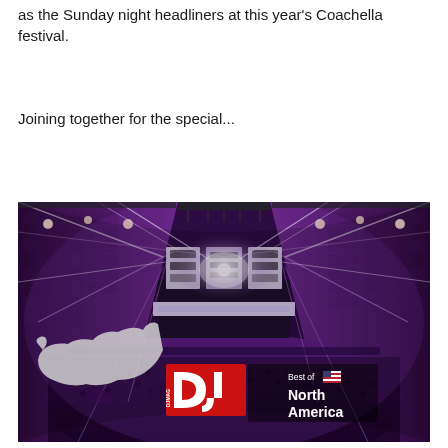as the Sunday night headliners at this year's Coachella festival.
Joining together for the special...
[Figure (photo): Wide-angle fisheye photo of a large indoor concert venue with a massive crowd, bright LED stage with laser light beams radiating outward, purple/pink lighting, brick walls on the sides. DJ Mag 'Best of North America' logo overlay in the bottom-left corner with a white silhouette map of North America and red/grey DJ Mag branding.]